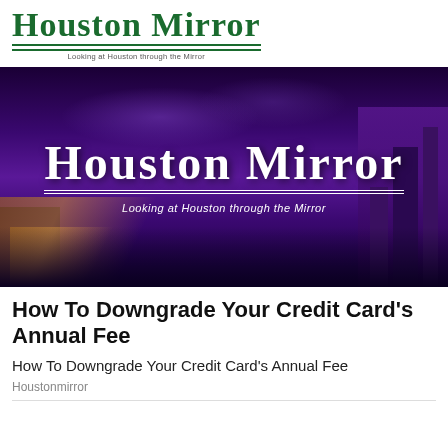HOUSTON MIRROR
Looking at Houston through the Mirror
[Figure (photo): City skyline banner image with purple night sky, highway with light trails on the left, tall buildings on the right, overlaid with Houston Mirror logo and tagline 'Looking at Houston through the Mirror']
How To Downgrade Your Credit Card's Annual Fee
How To Downgrade Your Credit Card’s Annual Fee
Houstonmirror